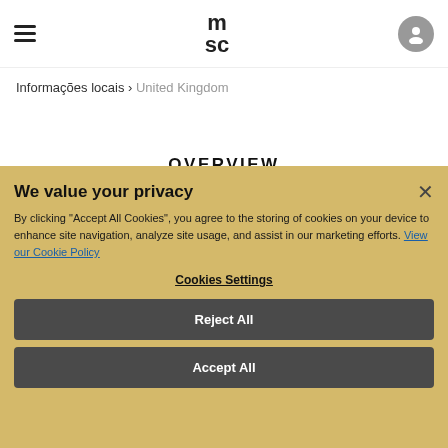MSC logo, hamburger menu, user icon
Informações locais > United Kingdom
OVERVIEW
OFFICES
LOCAL REQUIREMENTS
We value your privacy
By clicking "Accept All Cookies", you agree to the storing of cookies on your device to enhance site navigation, analyze site usage, and assist in our marketing efforts. View our Cookie Policy
Cookies Settings
Reject All
Accept All